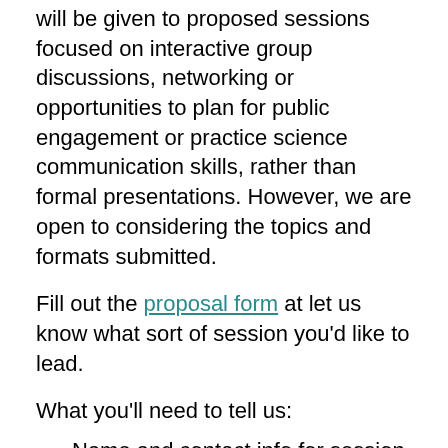will be given to proposed sessions focused on interactive group discussions, networking or opportunities to plan for public engagement or practice science communication skills, rather than formal presentations. However, we are open to considering the topics and formats submitted.
Fill out the proposal form at let us know what sort of session you'd like to lead.
What you'll need to tell us:
Name and contact info for session organizer(s)
Room set-up preferences (classroom for ~25 people, theater for ~40 people, or open area for up to ~100 people)
AV needs (may incur additional costs)
Title of your session